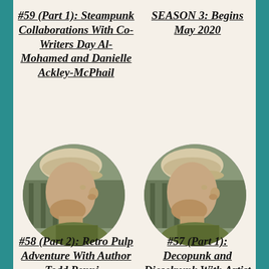#59 (Part 1): Steampunk Collaborations With Co-Writers Day Al-Mohamed and Danielle Ackley-McPhail
SEASON 3: Begins May 2020
[Figure (photo): Circular portrait photo of a man in profile view (facing left), wearing a light-colored baseball cap and olive green jacket, with a wooden fence visible in the background.]
[Figure (photo): Circular portrait photo of a man in profile view (facing left), wearing a light-colored baseball cap and olive green jacket, with a wooden fence visible in the background. Same person as the left photo.]
#58 (Part 2): Retro Pulp Adventure With Author Todd Pennin...
#57 (Part 1): Decopunk and Dieselpunk With Artist Todd Pennin...